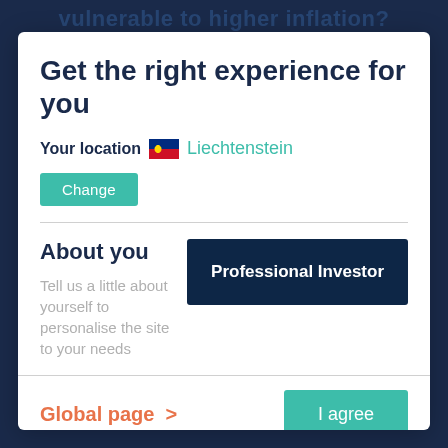vulnerable to higher inflation?
Get the right experience for you
Your location  Liechtenstein
Change
About you
Tell us a little about yourself to personalise the site to your needs
Professional Investor
Global page  >
I agree